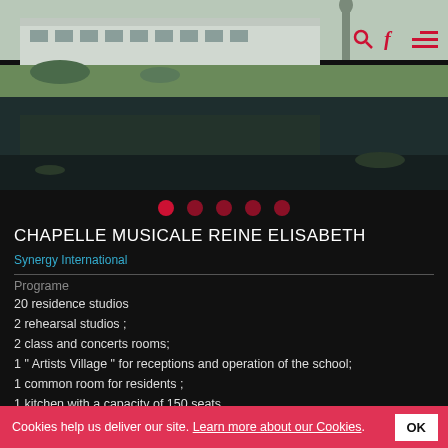[Figure (photo): Exterior photo of Chapelle Musicale Reine Elisabeth building with lawn, reflecting pool, and statue. Navigation icons (search, Facebook, hamburger menu) visible in top-right corner.]
● ● ● ● ●
CHAPELLE MUSICALE REINE ELISABETH
Synergy International
Programe
20 residence studios
2 rehearsal studios ;
2 class and concerts rooms;
1 " Artists Village " for receptions and operation of the school;
1 common room for residents ;
1 kitchen with a capacity of 150 seats .
About
The extension of the "Chapelle Musicale Reine Elisabeth" stretches
Cookies help us deliver our site. Learn more about our Cookies. OK